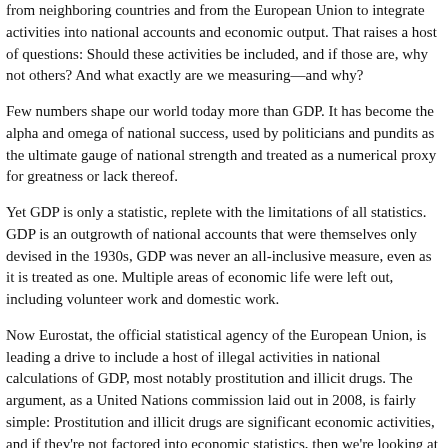from neighboring countries and from the European Union to integrate activities into national accounts and economic output. That raises a host of questions: Should these activities be included, and if those are, why not others? And what exactly are we measuring—and why?
Few numbers shape our world today more than GDP. It has become the alpha and omega of national success, used by politicians and pundits as the ultimate gauge of national strength and treated as a numerical proxy for greatness or lack thereof.
Yet GDP is only a statistic, replete with the limitations of all statistics. GDP is an outgrowth of national accounts that were themselves only devised in the 1930s, GDP was never an all-inclusive measure, even as it is treated as one. Multiple areas of economic life were left out, including volunteer work and domestic work.
Now Eurostat, the official statistical agency of the European Union, is leading a drive to include a host of illegal activities in national calculations of GDP, most notably prostitution and illicit drugs. The argument, as a United Nations commission laid out in 2008, is fairly simple: Prostitution and illicit drugs are significant economic activities, and if they're not factored into economic statistics, then we're looking at an incomplete picture—which in turn makes it that much harder to craft smart policy. Additionally, different countries have different laws: In the Netherlands, for instance, prostitution is legal, as